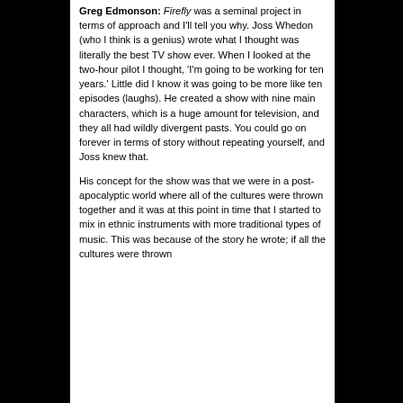Greg Edmonson: Firefly was a seminal project in terms of approach and I'll tell you why. Joss Whedon (who I think is a genius) wrote what I thought was literally the best TV show ever. When I looked at the two-hour pilot I thought, 'I'm going to be working for ten years.' Little did I know it was going to be more like ten episodes (laughs). He created a show with nine main characters, which is a huge amount for television, and they all had wildly divergent pasts. You could go on forever in terms of story without repeating yourself, and Joss knew that.
His concept for the show was that we were in a post-apocalyptic world where all of the cultures were thrown together and it was at this point in time that I started to mix in ethnic instruments with more traditional types of music. This was because of the story he wrote; if all the cultures were thrown